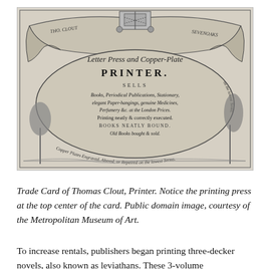[Figure (illustration): Trade card of Thomas Clout, Printer, Sevenoaks. An ornate engraved trade card featuring a printing press at the top center, decorative drapery, and text reading 'Letter Press and Copper-Plate PRINTER, SELLS Books, Periodical Publications, Stationary, elegant Paper-hangings, genuine Medicines, Perfumery &c. at the London Prices. Printing neatly & correctly executed. BOOKS NEATLY BOUND. Old Books bought & sold. Copper Plates Engraved, Altered, or Repaired on the lowest Terms.' Flanked by trees and landscape vignettes.]
Trade Card of Thomas Clout, Printer. Notice the printing press at the top center of the card. Public domain image, courtesy of the Metropolitan Museum of Art.
To increase rentals, publishers began printing three-decker novels, also known as leviathans. These 3-volume